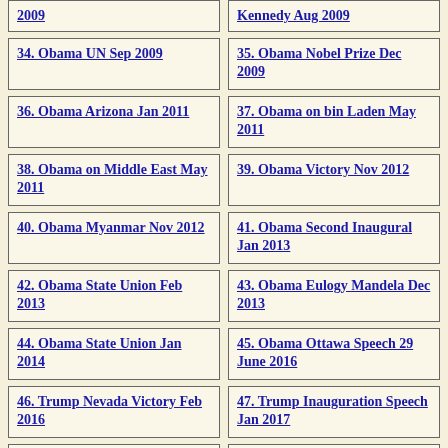2009
Kennedy Aug 2009
34. Obama UN Sep 2009
35. Obama Nobel Prize Dec 2009
36. Obama Arizona Jan 2011
37. Obama on bin Laden May 2011
38. Obama on Middle East May 2011
39. Obama Victory Nov 2012
40. Obama Myanmar Nov 2012
41. Obama Second Inaugural Jan 2013
42. Obama State Union Feb 2013
43. Obama Eulogy Mandela Dec 2013
44. Obama State Union Jan 2014
45. Obama Ottawa Speech 29 June 2016
46. Trump Nevada Victory Feb 2016
47. Trump Inauguration Speech Jan 2017
48. Trump 9/11 Memorial
49. Kamala Harris Victory Speech 7 Nov